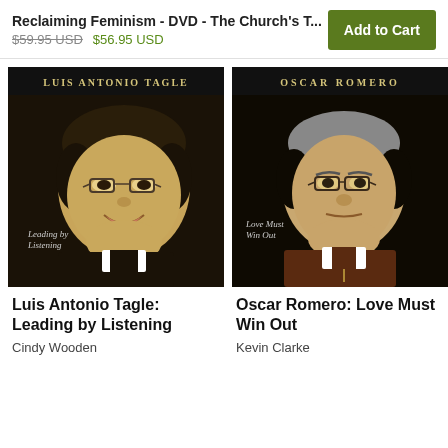Reclaiming Feminism - DVD - The Church's T...
$59.95 USD  $56.95 USD
Add to Cart
[Figure (illustration): Book cover for 'Luis Antonio Tagle: Leading by Listening' - illustrated portrait of Luis Antonio Tagle, a smiling man with glasses in clerical collar, dark background with subtitle 'Leading by Listening']
[Figure (illustration): Book cover for 'Oscar Romero: Love Must Win Out' - illustrated portrait of Oscar Romero, a serious-looking man with glasses in clerical collar, dark background with subtitle 'Love Must Win Out']
Luis Antonio Tagle: Leading by Listening
Cindy Wooden
Oscar Romero: Love Must Win Out
Kevin Clarke